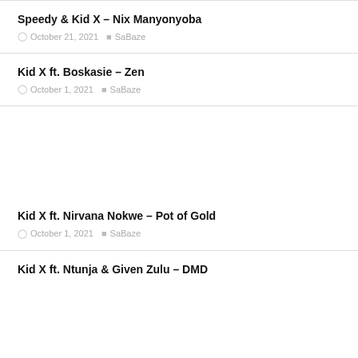Speedy & Kid X – Nix Manyonyoba
October 21, 2021  SaBaze
Kid X ft. Boskasie – Zen
October 1, 2021  SaBaze
Kid X ft. Nirvana Nokwe – Pot of Gold
October 1, 2021  SaBaze
Kid X ft. Ntunja & Given Zulu – DMD